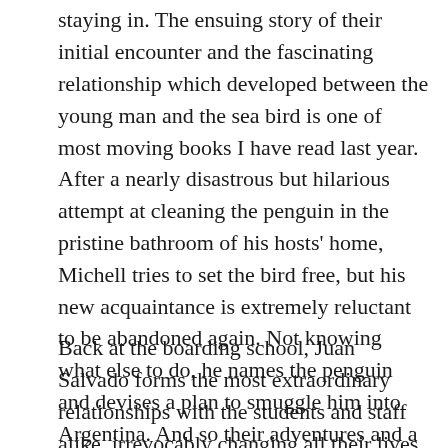staying in. The ensuing story of their initial encounter and the fascinating relationship which developed between the young man and the sea bird is one of most moving books I have read last year.
After a nearly disastrous but hilarious attempt at cleaning the penguin in the pristine bathroom of his hosts' home, Michell tries to set the bird free, but his new acquaintance is extremely reluctant to be abandoned again. Not knowing what else to do, he names the penguin and devises a plan to smuggle him into Argentina. And so their adventures and a remarkable friendship begin.
Back at the boarding school, Juan Salvado forms the most extraordinary relationships with the students and staff alike, irrevocably changing all their lives. Michell's commentary on the socio-political situation of Argentina of the time is subtle but highly intriguing. His descriptions of penguin and human natures and how the two can relate to one another are